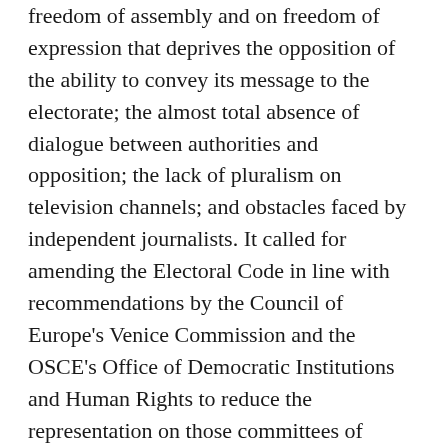freedom of assembly and on freedom of expression that deprives the opposition of the ability to convey its message to the electorate; the almost total absence of dialogue between authorities and opposition; the lack of pluralism on television channels; and obstacles faced by independent journalists. It called for amending the Electoral Code in line with recommendations by the Council of Europe's Venice Commission and the OSCE's Office of Democratic Institutions and Human Rights to reduce the representation on those committees of members of the ruling Yeni Azerbaycan Party and persons loyal to or affiliated with it. LF
AZERBAIJANI AUTHORITIES REFUSE TO ALLOW FORMER PREMIER'S AIDE TO LEAVE COUNTRY
Officials at Baku airport prevented Saday Nazarov, who in 1993-1994 served as an aide to then Prime